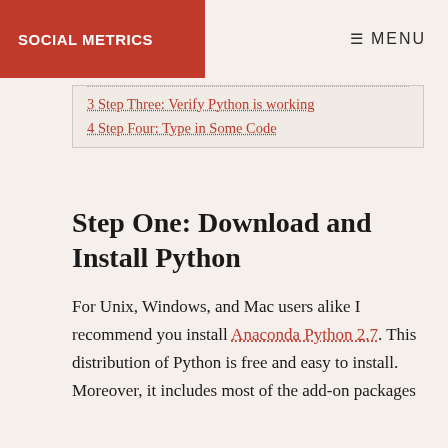SOCIAL METRICS
≡ MENU
3 Step Three: Verify Python is working
4 Step Four: Type in Some Code
Step One: Download and Install Python
For Unix, Windows, and Mac users alike I recommend you install Anaconda Python 2.7. This distribution of Python is free and easy to install. Moreover, it includes most of the add-on packages